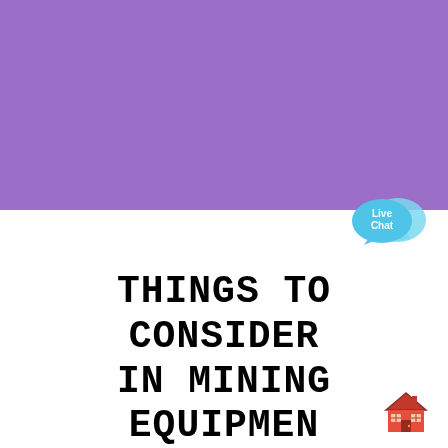[Figure (illustration): Solid purple/violet rectangular background block filling the top half of the page]
[Figure (illustration): Live Chat speech bubble icon in cyan/light blue with white text 'Live Chat', positioned at the transition between purple and white areas on the right side]
THINGS TO CONSIDER IN MINING EQUIPMENT LAYOUT
[Figure (illustration): Small red house/building emoji icon in the bottom-right corner]